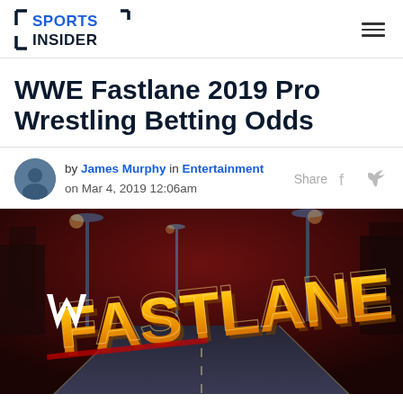SPORTS INSIDER
WWE Fastlane 2019 Pro Wrestling Betting Odds
by James Murphy in Entertainment on Mar 4, 2019 12:06am
[Figure (photo): WWE Fastlane 2019 promotional image with large gold FASTLANE text logo on a dark red nighttime highway background with street lights]